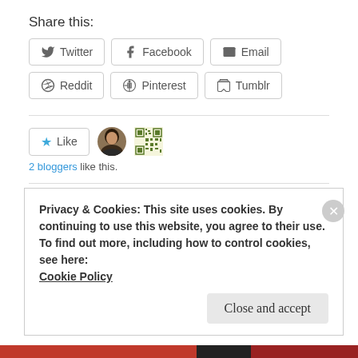Share this:
Twitter  Facebook  Email  Reddit  Pinterest  Tumblr
[Figure (other): Like button with star icon, two blogger avatar thumbnails]
2 bloggers like this.
brokenbrilliant / January 7, 2012 / Personal
Privacy & Cookies: This site uses cookies. By continuing to use this website, you agree to their use.
To find out more, including how to control cookies, see here:
Cookie Policy
Close and accept